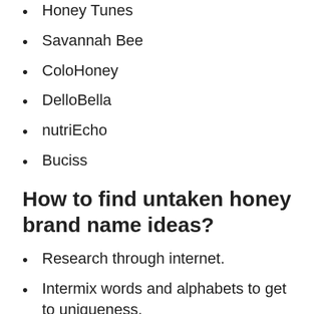Honey Tunes
Savannah Bee
ColoHoney
DelloBella
nutriEcho
Buciss
How to find untaken honey brand name ideas?
Research through internet.
Intermix words and alphabets to get to uniqueness.
Use AI based name generators.
Use Latin, Greek, Spanish or any other language you like.
In the end ideas from the internet can be used as